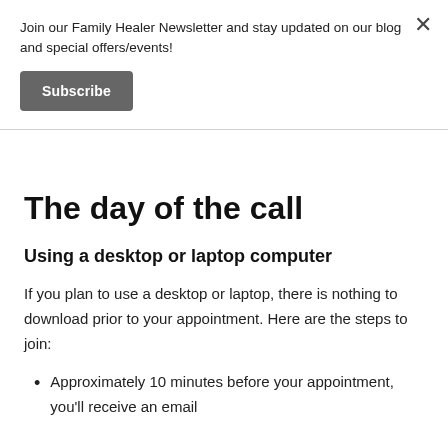Join our Family Healer Newsletter and stay updated on our blog and special offers/events!
Subscribe
The day of the call
Using a desktop or laptop computer
If you plan to use a desktop or laptop, there is nothing to download prior to your appointment. Here are the steps to join:
Approximately 10 minutes before your appointment, you'll receive an email